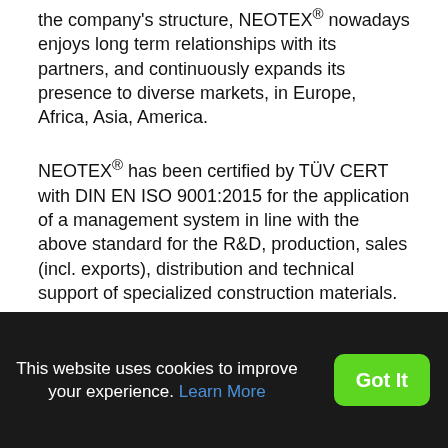the company's structure, NEOTEX® nowadays enjoys long term relationships with its partners, and continuously expands its presence to diverse markets, in Europe, Africa, Asia, America.
NEOTEX® has been certified by TÜV CERT with DIN EN ISO 9001:2015 for the application of a management system in line with the above standard for the R&D, production, sales (incl. exports), distribution and technical support of specialized construction materials.
The past and present experience, the innovation, the specialization, together with a well perceived and carefully executed development plan, allow NEOTEX® to
This website uses cookies to improve your experience. Learn More